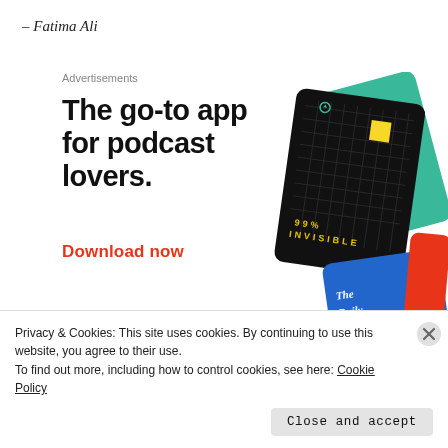– Fatima Ali
Advertisements
[Figure (illustration): Pocket Casts app advertisement showing podcast app cards (99% Invisible black card, On Being green card, The Daily blue card) with large bold headline 'The go-to app for podcast lovers.' and red 'Download now' call to action, with Pocket Casts logo and name.]
Privacy & Cookies: This site uses cookies. By continuing to use this website, you agree to their use.
To find out more, including how to control cookies, see here: Cookie Policy
Close and accept